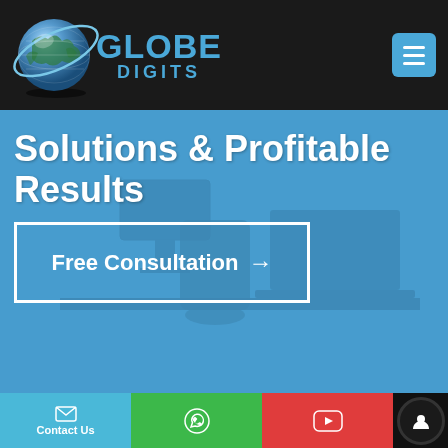[Figure (logo): Globe Digits logo with blue globe and text GLOBE DIGITS]
Solutions & Profitable Results
[Figure (other): Blue hero section with office background, containing Free Consultation button with arrow]
Contact Us | WhatsApp icon | YouTube icon | Chat bubble